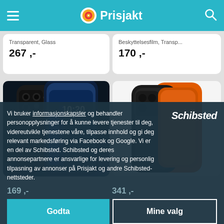Prisjakt
Transparent, Glass
267 ,-
Beskyttelsesfilm, Transp...
170 ,-
[Figure (photo): Black iPhone 13 Pro case with perforated texture shown with iPhone 13 Pro]
[Figure (photo): Black and orange iPhone case shown from back, two pieces]
Vi bruker informasjonskapsler og behandler personopplysninger for å kunne levere tjenester til deg, videreutvikle tjenestene våre, tilpasse innhold og gi deg relevant markedsføring via Facebook og Google. Vi er en del av Schibsted. Schibsted og deres annonsepartnere er ansvarlige for levering og personlig tilpasning av annonser på Prisjakt og andre Schibsted-nettsteder.
[Figure (logo): Schibsted logo in white italic text]
169 ,-
341 ,-
Godta
Mine valg